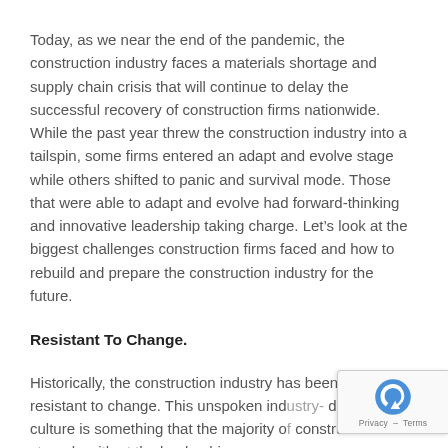Today, as we near the end of the pandemic, the construction industry faces a materials shortage and supply chain crisis that will continue to delay the successful recovery of construction firms nationwide. While the past year threw the construction industry into a tailspin, some firms entered an adapt and evolve stage while others shifted to panic and survival mode. Those that were able to adapt and evolve had forward-thinking and innovative leadership taking charge. Let’s look at the biggest challenges construction firms faced and how to rebuild and prepare the construction industry for the future.
Resistant To Change.
Historically, the construction industry has been heavily resistant to change. This unspoken ind… driven culture is something that the majority o… construction firms struggle with at the leadership